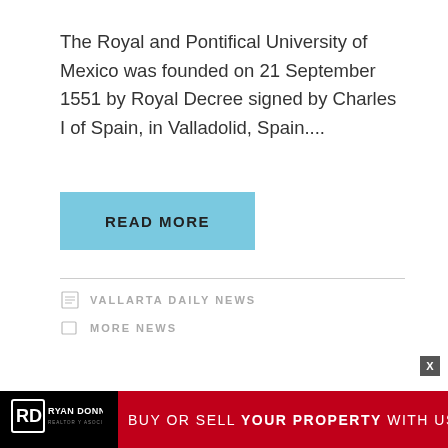The Royal and Pontifical University of Mexico was founded on 21 September 1551 by Royal Decree signed by Charles I of Spain, in Valladolid, Spain....
READ MORE
VALLARTA DAILY NEWS
MORE NEWS
[Figure (other): Close button with X symbol in dark square]
[Figure (other): Ryan Donner Realtor y Asociados advertisement banner. Black background with RD logo on left, red bar on right with text: BUY OR SELL YOUR PROPERTY WITH US]